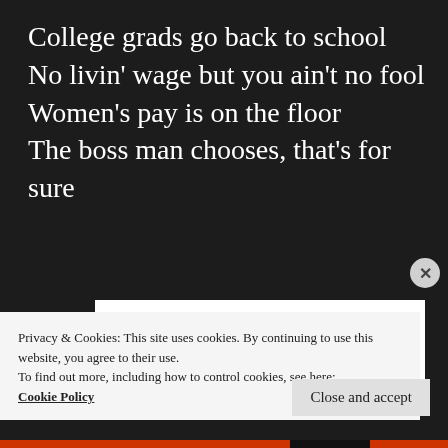College grads go back to school
No livin' wage but you ain't no fool
Women's pay is on the floor
The boss man chooses, that's for sure
[Figure (screenshot): WordPress advertisement box with text 'Where WordPress Works Best' in dark blue and blue bold sans-serif font on white background]
Privacy & Cookies: This site uses cookies. By continuing to use this website, you agree to their use.
To find out more, including how to control cookies, see here:
Cookie Policy
Close and accept